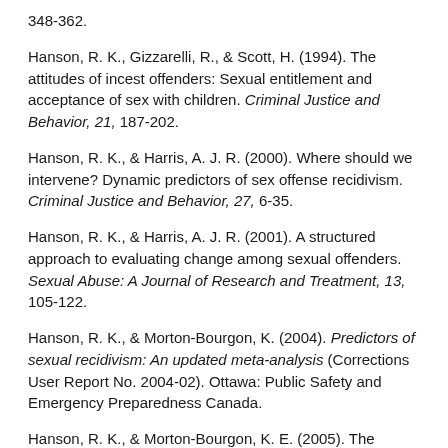348-362.
Hanson, R. K., Gizzarelli, R., & Scott, H. (1994). The attitudes of incest offenders: Sexual entitlement and acceptance of sex with children. Criminal Justice and Behavior, 21, 187-202.
Hanson, R. K., & Harris, A. J. R. (2000). Where should we intervene? Dynamic predictors of sex offense recidivism. Criminal Justice and Behavior, 27, 6-35.
Hanson, R. K., & Harris, A. J. R. (2001). A structured approach to evaluating change among sexual offenders. Sexual Abuse: A Journal of Research and Treatment, 13, 105-122.
Hanson, R. K., & Morton-Bourgon, K. (2004). Predictors of sexual recidivism: An updated meta-analysis (Corrections User Report No. 2004-02). Ottawa: Public Safety and Emergency Preparedness Canada.
Hanson, R. K., & Morton-Bourgon, K. E. (2005). The